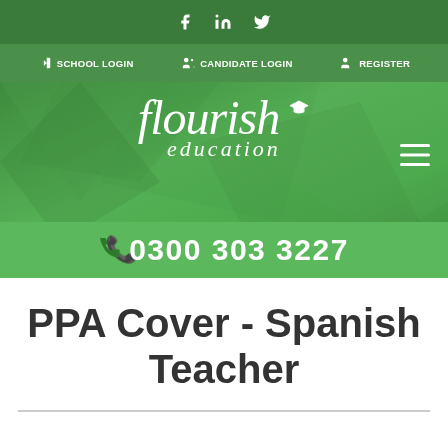Social icons: Facebook, LinkedIn, Twitter
SCHOOL LOGIN  CANDIDATE LOGIN  REGISTER
[Figure (logo): Flourish Education logo with graduation cap icon, italic script font, on green background]
0300 303 3227
PPA Cover - Spanish Teacher